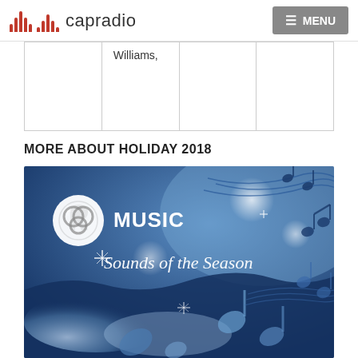capradio  MENU
|  | Williams, |  |  |
MORE ABOUT HOLIDAY 2018
[Figure (illustration): CapRadio Music 'Sounds of the Season' promotional image with blue winter holiday background featuring music notes, sparkles, and snow. White CapRadio logo circle with tree/music icon, text reads 'MUSIC' and 'Sounds of the Season' in white italic text.]